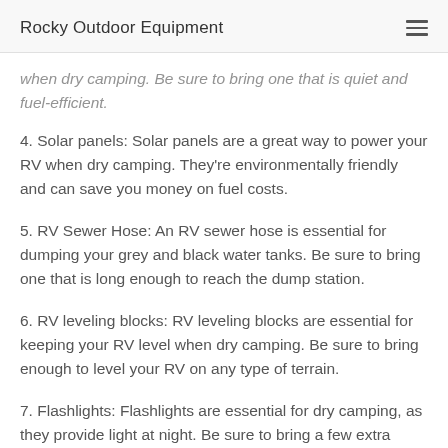Rocky Outdoor Equipment
when dry camping. Be sure to bring one that is quiet and fuel-efficient.
4. Solar panels: Solar panels are a great way to power your RV when dry camping. They're environmentally friendly and can save you money on fuel costs.
5. RV Sewer Hose: An RV sewer hose is essential for dumping your grey and black water tanks. Be sure to bring one that is long enough to reach the dump station.
6. RV leveling blocks: RV leveling blocks are essential for keeping your RV level when dry camping. Be sure to bring enough to level your RV on any type of terrain.
7. Flashlights: Flashlights are essential for dry camping, as they provide light at night. Be sure to bring a few extra